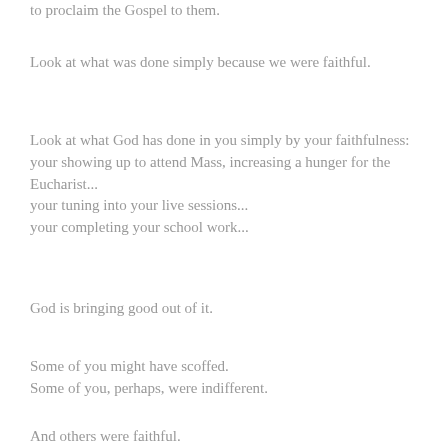to proclaim the Gospel to them.
Look at what was done simply because we were faithful.
Look at what God has done in you simply by your faithfulness:
your showing up to attend Mass, increasing a hunger for the Eucharist...
your tuning into your live sessions...
your completing your school work...
God is bringing good out of it.
Some of you might have scoffed.
Some of you, perhaps, were indifferent.
And others were faithful.